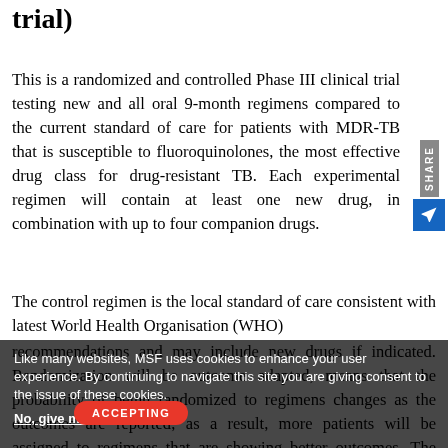trial)
This is a randomized and controlled Phase III clinical trial testing new and all oral 9-month regimens compared to the current standard of care for patients with MDR-TB that is susceptible to fluoroquinolones, the most effective drug class for drug-resistant TB. Each experimental regimen will contain at least one new drug, in combination with up to four companion drugs.
The control regimen is the local standard of care consistent with latest World Health Organisation (WHO) recommendations and may include new drugs if indicated. Randomization will be outcome adapted, means that the probability of being randomized to regimens changes as the outcomes are reported; as a result, more patients will be assigned to regimens that are showing better outcomes. The clinical trial is expected to enroll 750 patients at all selected sites in
Like many websites, MSF uses cookies to enhance your user experience. By continuing to navigate this site you are giving consent to the issue of these cookies. No, give me more info
ACCEPTING